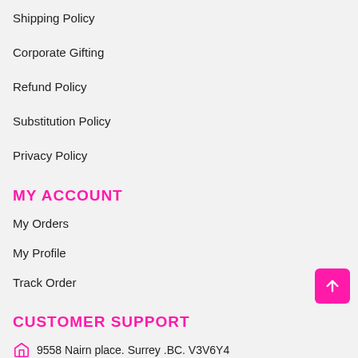Shipping Policy
Corporate Gifting
Refund Policy
Substitution Policy
Privacy Policy
MY ACCOUNT
My Orders
My Profile
Track Order
CUSTOMER SUPPORT
9558 Nairn place. Surrey .BC. V3V6Y4